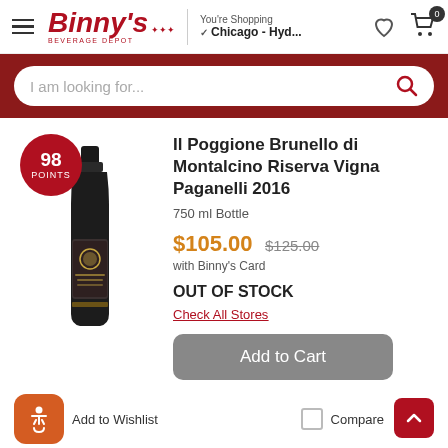Binny's Beverage Depot — You're Shopping Chicago - Hyd...
I am looking for...
[Figure (photo): Wine bottle — Il Poggione Brunello di Montalcino Riserva Vigna Paganelli 2016, dark bottle with label, with a red circular badge showing 98 POINTS]
Il Poggione Brunello di Montalcino Riserva Vigna Paganelli 2016
750 ml Bottle
$105.00  $125.00
with Binny's Card
OUT OF STOCK
Check All Stores
Add to Cart
Add to Wishlist
Compare